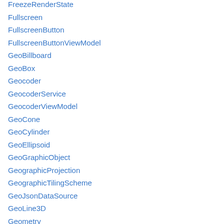FreezeRenderState
Fullscreen
FullscreenButton
FullscreenButtonViewModel
GeoBillboard
GeoBox
Geocoder
GeocoderService
GeocoderViewModel
GeoCone
GeoCylinder
GeoEllipsoid
GeoGraphicObject
GeographicProjection
GeographicTilingScheme
GeoJsonDataSource
GeoLine3D
Geometry
Geometry3D
GeometryAttribute